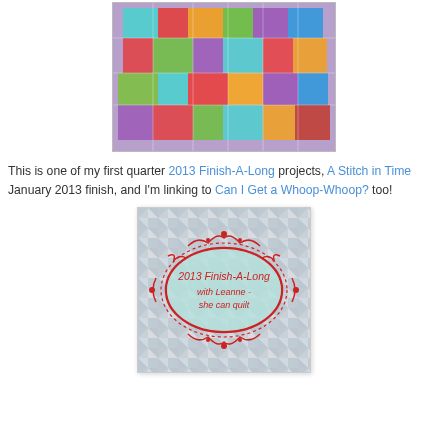[Figure (photo): Colorful patchwork quilt with bright fabrics in red, orange, green, blue, purple, and teal arranged in a geometric pattern]
This is one of my first quarter 2013 Finish-A-Long projects, A Stitch in Time January 2013 finish, and I'm linking to Can I Get a Whoop-Whoop? too!
[Figure (illustration): Badge image for 2013 Finish-A-Long with Leanne - she can quilt, featuring a decorative red oval frame on a patchwork background with text inside]